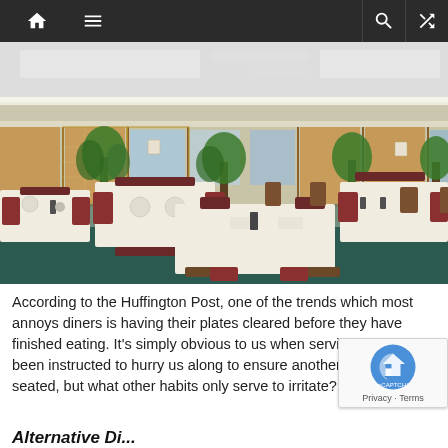Navigation bar with home, menu, search, and shuffle icons
[Figure (photo): Interior of a restaurant dining room with white tablecloth-covered tables, red and wood chairs, potted plants, wood paneled walls, and fluorescent ceiling lights. The room appears to be empty and ready for service.]
According to the Huffington Post, one of the trends which most annoys diners is having their plates cleared before they have finished eating. It's simply obvious to us when service staff have been instructed to hurry us along to ensure another cover may be seated, but what other habits only serve to irritate?
Alternative Di...